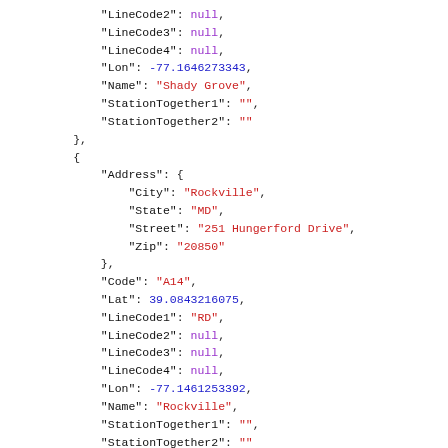JSON code snippet showing station data with LineCode2-4 null, Lon, Name Shady Grove, StationTogether fields, then Address block with City Rockville, State MD, Street 251 Hungerford Drive, Zip 20850, Code A14, Lat 39.0843216075, LineCode1 RD, LineCode2-4 null, Lon, Name Rockville, StationTogether fields